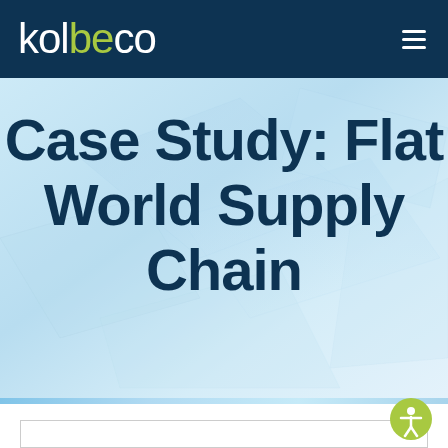kolbeco
[Figure (illustration): Hero banner with light blue geometric angular background design]
Case Study: Flat World Supply Chain
[Figure (screenshot): Accessibility icon button (person with circle) in yellow-green circle, bottom right]